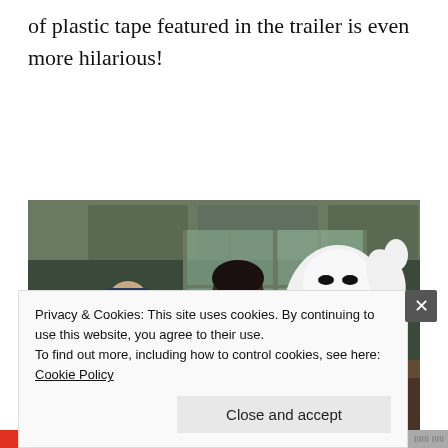of plastic tape featured in the trailer is even more hilarious!
[Figure (screenshot): Animated screenshot from Big Hero 6 showing Baymax (white inflatable robot) raising a hand, alongside a boy with dark hair and a uniformed officer in what appears to be a police station interior.]
Privacy & Cookies: This site uses cookies. By continuing to use this website, you agree to their use.
To find out more, including how to control cookies, see here: Cookie Policy
Close and accept